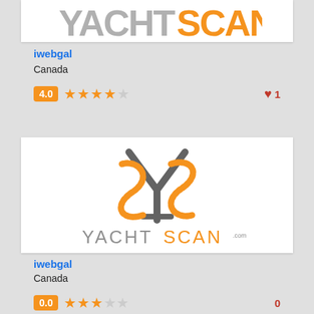[Figure (logo): YachtScan logo (partial, top cropped) showing YACHTSCAN text in gray and orange]
iwebgal
Canada
4.0 ★★★★☆  ♥ 1
[Figure (logo): YachtScan full logo: stylized Y and S rope graphic in orange and gray, with YACHTSCAN.com text below]
iwebgal
Canada
0.0 ★★★☆☆  0